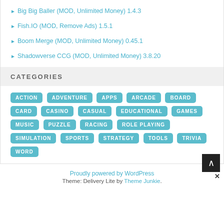Big Big Baller (MOD, Unlimited Money) 1.4.3
Fish.IO (MOD, Remove Ads) 1.5.1
Boom Merge (MOD, Unlimited Money) 0.45.1
Shadowverse CCG (MOD, Unlimited Money) 3.8.20
CATEGORIES
ACTION ADVENTURE APPS ARCADE BOARD CARD CASINO CASUAL EDUCATIONAL GAMES MUSIC PUZZLE RACING ROLE PLAYING SIMULATION SPORTS STRATEGY TOOLS TRIVIA WORD
Proudly powered by WordPress
Theme: Delivery Lite by Theme Junkie.